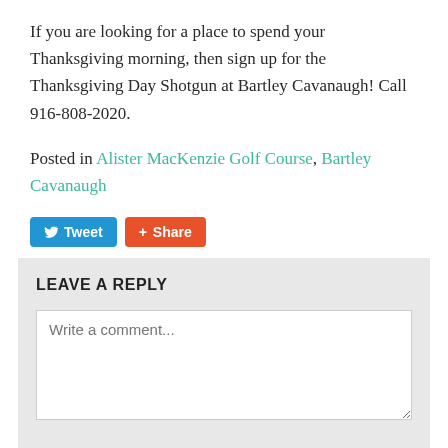If you are looking for a place to spend your Thanksgiving morning, then sign up for the Thanksgiving Day Shotgun at Bartley Cavanaugh! Call 916-808-2020.
Posted in Alister MacKenzie Golf Course, Bartley Cavanaugh
[Figure (other): Social sharing buttons: Tweet (blue) and Share (orange/red)]
LEAVE A REPLY
Write a comment...